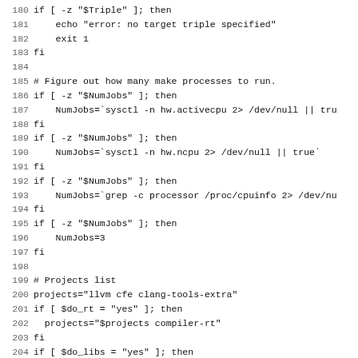Shell script code lines 180-211 showing target triple check, NumJobs detection, and projects list configuration